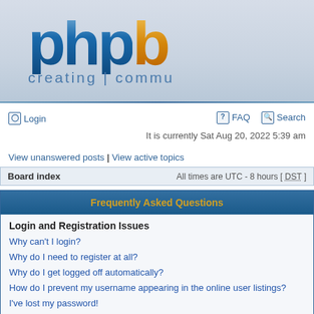[Figure (logo): phpBB logo with blue 'php' text and orange 'b', tagline 'creating commu...' below]
Login | FAQ | Search
It is currently Sat Aug 20, 2022 5:39 am
View unanswered posts | View active topics
Board index   All times are UTC - 8 hours [ DST ]
Frequently Asked Questions
Login and Registration Issues
Why can't I login?
Why do I need to register at all?
Why do I get logged off automatically?
How do I prevent my username appearing in the online user listings?
I've lost my password!
I registered but cannot login!
I registered in the past but cannot login any more?!
What is COPPA?
Why can't I register?
What does the "Delete all board cookies" do?